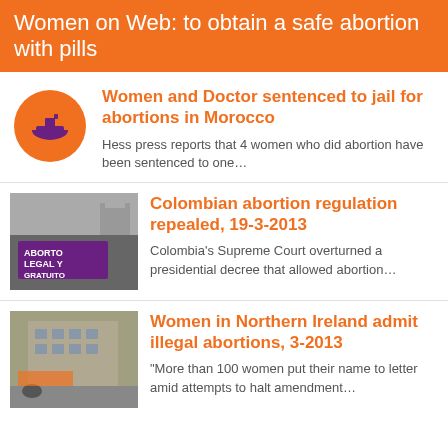Women on Web: to obtain a safe abortion with pills
Women and Doctor sentenced to jail for abortions in Morocco
Hess press reports that 4 women who did abortion have been sentenced to one…
Colombian abortion regulation repealed, 19-3-2013
Colombia's Supreme Court overturned a presidential decree that allowed abortion…
Women in Northern Ireland admit illegal abortions, 3-2013
"More than 100 women put their name to letter amid attempts to halt amendment…